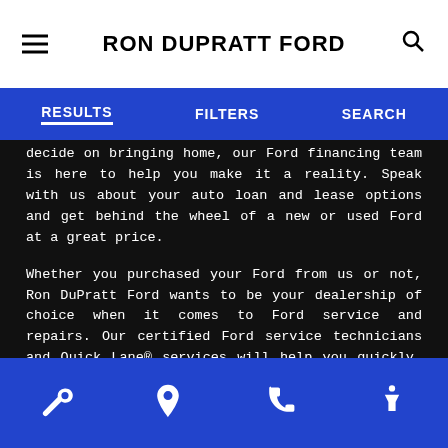RON DUPRATT FORD
RESULTS   FILTERS   SEARCH
decide on bringing home, our Ford financing team is here to help you make it a reality. Speak with us about your auto loan and lease options and get behind the wheel of a new or used Ford at a great price.
Whether you purchased your Ford from us or not, Ron DuPratt Ford wants to be your dealership of choice when it comes to Ford service and repairs. Our certified Ford service technicians and Quick Lane® services will help you quickly, efficiently and affordably get the Ford maintenance you need. And if you've been in an accident, know that our Ford collision repair experts are here for you. Need OEM Ford parts? We have plenty of Ford parts and accessories for sale that can repair or upgrade your vehicle. Ron DuPratt Ford is conveniently located at 1320 North 1st Street in Dixon, CA. We can't wait for you to visit us so we can welcome you to the DuPratt family. Stop by for Ford sales or service today.
wrench icon, location icon, phone icon, accessibility icon